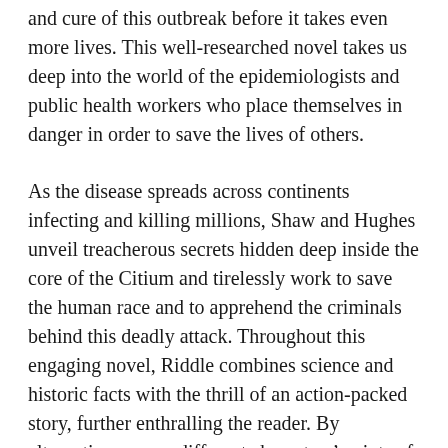and cure of this outbreak before it takes even more lives. This well-researched novel takes us deep into the world of the epidemiologists and public health workers who place themselves in danger in order to save the lives of others.
As the disease spreads across continents infecting and killing millions, Shaw and Hughes unveil treacherous secrets hidden deep inside the core of the Citium and tirelessly work to save the human race and to apprehend the criminals behind this deadly attack. Throughout this engaging novel, Riddle combines science and historic facts with the thrill of an action-packed story, further enthralling the reader. By alternating among different characters' points of view, the author intimately communicates the heart-wrenching emotions from each stunning revelation, drawing the reader deeper into the storyline. You won't be able to put this book down.